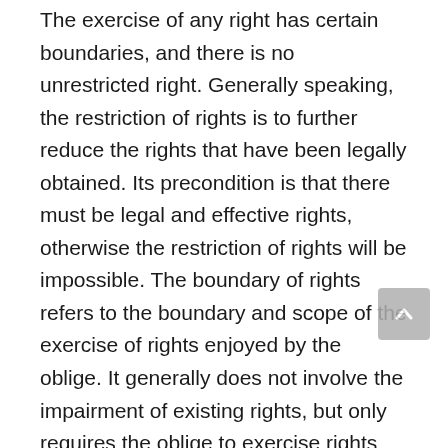The exercise of any right has certain boundaries, and there is no unrestricted right. Generally speaking, the restriction of rights is to further reduce the rights that have been legally obtained. Its precondition is that there must be legal and effective rights, otherwise the restriction of rights will be impossible. The boundary of rights refers to the boundary and scope of the exercise of rights enjoyed by the oblige. It generally does not involve the impairment of existing rights, but only requires the oblige to exercise rights within the legal boundary and scope. To further explain this problem, we can use the philosopher John R. Searle's explanation of the nature of rules to demonstrate the difference between